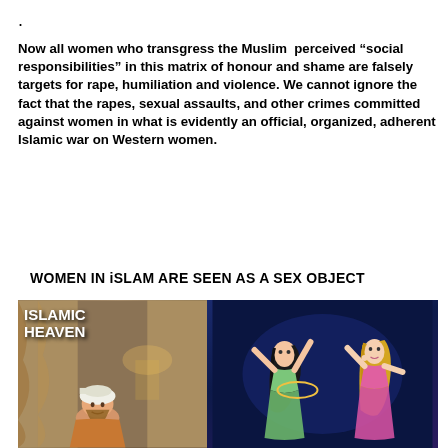.
Now all women who transgress the Muslim perceived “social responsibilities” in this matrix of honour and shame are falsely targets for rape, humiliation and violence. We cannot ignore the fact that the rapes, sexual assaults, and other crimes committed against women in what is evidently an official, organized, adherent Islamic war on Western women.
WOMEN IN iSLAM ARE SEEN AS A SEX OBJECT
[Figure (illustration): Illustrated image showing animated characters labeled 'ISLAMIC HEAVEN' on a dark blue background with decorated female figures dancing]